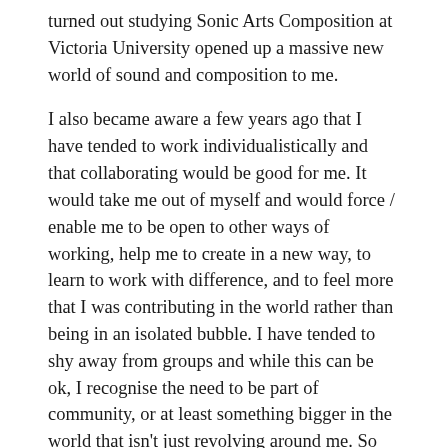turned out studying Sonic Arts Composition at Victoria University opened up a massive new world of sound and composition to me.
I also became aware a few years ago that I have tended to work individualistically and that collaborating would be good for me. It would take me out of myself and would force / enable me to be open to other ways of working, help me to create in a new way, to learn to work with difference, and to feel more that I was contributing in the world rather than being in an isolated bubble. I have tended to shy away from groups and while this can be ok, I recognise the need to be part of community, or at least something bigger in the world that isn't just revolving around me. So I'm grateful again that I have had opportunities for collaboration come my way – certainly with my students who teach me a massive amount – with fellow sound artists Chris Black and Jason Wright, with Tape Art New Zealand, with Hinemoana, with Tim Bray